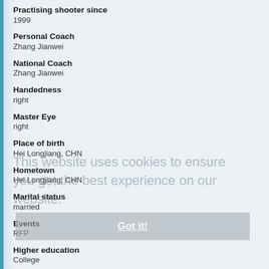Practising shooter since
1999
Personal Coach
Zhang Jianwei
National Coach
Zhang Jianwei
Handedness
right
Master Eye
right
Place of birth
Hei Longjiang, CHN
Hometown
Hei Longjiang, CHN
Marital status
married
Events
RFP
Higher education
College
Hobbies
Music
Languages
Chinese
This website uses cookies to ensure you get the best experience on our website.
Got it!